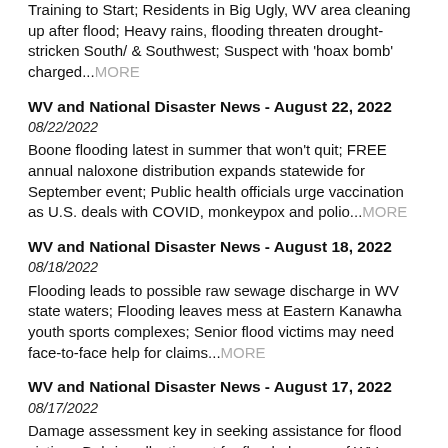Training to Start; Residents in Big Ugly, WV area cleaning up after flood; Heavy rains, flooding threaten drought-stricken South/ & Southwest; Suspect with 'hoax bomb' charged...MORE
WV and National Disaster News - August 22, 2022
08/22/2022
Boone flooding latest in summer that won't quit; FREE annual naloxone distribution expands statewide for September event; Public health officials urge vaccination as U.S. deals with COVID, monkeypox and polio...MORE
WV and National Disaster News - August 18, 2022
08/18/2022
Flooding leads to possible raw sewage discharge in WV state waters; Flooding leaves mess at Eastern Kanawha youth sports complexes; Senior flood victims may need face-to-face help for claims...MORE
WV and National Disaster News - August 17, 2022
08/17/2022
Damage assessment key in seeking assistance for flood victims; Debris collection set for flooded areas of WV; State